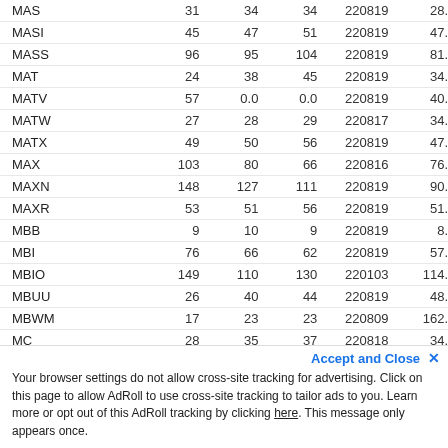| Symbol |  |  |  | Date |  |
| --- | --- | --- | --- | --- | --- |
| MAS | 31 | 34 | 34 | 220819 | 28. |
| MASI | 45 | 47 | 51 | 220819 | 47. |
| MASS | 96 | 95 | 104 | 220819 | 81. |
| MAT | 24 | 38 | 45 | 220819 | 34. |
| MATV | 57 | 0.0 | 0.0 | 220819 | 40. |
| MATW | 27 | 28 | 29 | 220817 | 34. |
| MATX | 49 | 50 | 56 | 220819 | 47. |
| MAX | 103 | 80 | 66 | 220816 | 76. |
| MAXN | 148 | 127 | 111 | 220819 | 90. |
| MAXR | 53 | 51 | 56 | 220819 | 51. |
| MBB | 9 | 10 | 9 | 220819 | 8. |
| MBI | 76 | 66 | 62 | 220819 | 57. |
| MBIO | 149 | 110 | 130 | 220103 | 114. |
| MBUU | 26 | 40 | 44 | 220819 | 48. |
| MBWM | 17 | 23 | 23 | 220809 | 162. |
| MC | 28 | 35 | 37 | 220818 | 34. |
| MCB | 32 | 36 | 48 | 220819 | 46. |
| MCBC | 18 | 19 | 17 | 220222 | 22. |
| MCD | 17 | 17 | 20 | 220819 | 15. |
| MCFT | 29 | 43 | 43 | 220819 | 47. |
| MCS | 26 | 25 | 28 | 220819 | 64. |
Accept and Close ✕
Your browser settings do not allow cross-site tracking for advertising. Click on this page to allow AdRoll to use cross-site tracking to tailor ads to you. Learn more or opt out of this AdRoll tracking by clicking here. This message only appears once.